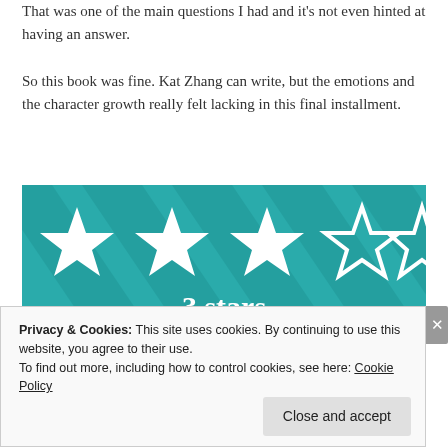That was one of the main questions I had and it's not even hinted at having an answer.
So this book was fine. Kat Zhang can write, but the emotions and the character growth really felt lacking in this final installment.
[Figure (infographic): A teal/dark-teal chevron-striped background with 5 stars: 3 filled white stars, 2 outlined white stars, and the text '3 stars' in bold serif font at the bottom center.]
Privacy & Cookies: This site uses cookies. By continuing to use this website, you agree to their use.
To find out more, including how to control cookies, see here: Cookie Policy
Close and accept